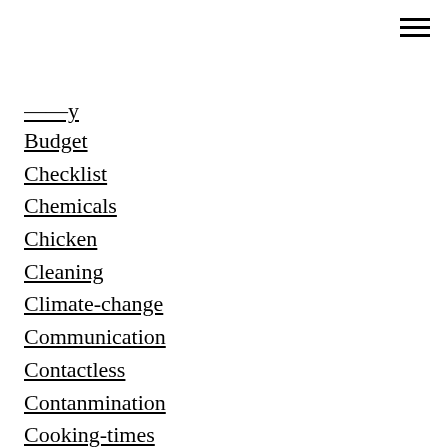[partial - clipped at top]
Budget
Checklist
Chemicals
Chicken
Cleaning
Climate-change
Communication
Contactless
Contanmination
Cooking-times
Cooling
Coronavirus
Covid
Cross-contact
Crosscontamination
Cross-contamination